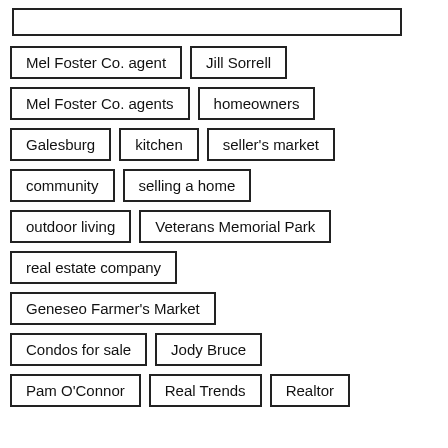Mel Foster Co. agent
Jill Sorrell
Mel Foster Co. agents
homeowners
Galesburg
kitchen
seller's market
community
selling a home
outdoor living
Veterans Memorial Park
real estate company
Geneseo Farmer's Market
Condos for sale
Jody Bruce
Pam O'Connor
Real Trends
Realtor